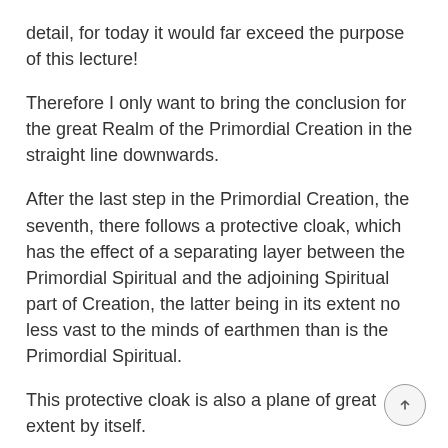detail, for today it would far exceed the purpose of this lecture!
Therefore I only want to bring the conclusion for the great Realm of the Primordial Creation in the straight line downwards.
After the last step in the Primordial Creation, the seventh, there follows a protective cloak, which has the effect of a separating layer between the Primordial Spiritual and the adjoining Spiritual part of Creation, the latter being in its extent no less vast to the minds of earthmen than is the Primordial Spiritual.
This protective cloak is also a plane of great extent by itself.